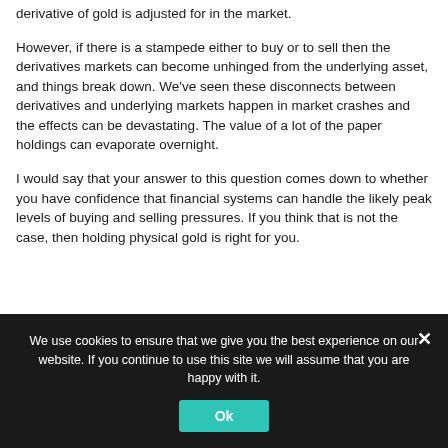derivative of gold is adjusted for in the market.
However, if there is a stampede either to buy or to sell then the derivatives markets can become unhinged from the underlying asset, and things break down. We've seen these disconnects between derivatives and underlying markets happen in market crashes and the effects can be devastating. The value of a lot of the paper holdings can evaporate overnight.
I would say that your answer to this question comes down to whether you have confidence that financial systems can handle the likely peak levels of buying and selling pressures. If you think that is not the case, then holding physical gold is right for you.
We use cookies to ensure that we give you the best experience on our website. If you continue to use this site we will assume that you are happy with it.